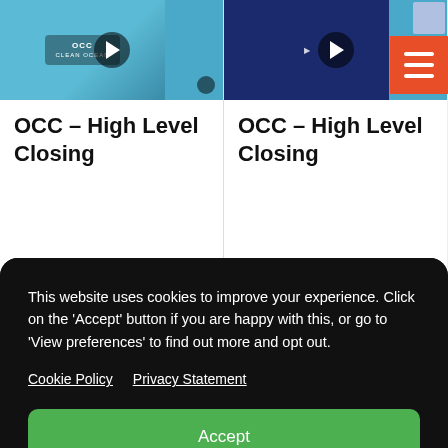[Figure (screenshot): Website card with video thumbnail showing OCC High Level Closing text on left side]
OCC – High Level Closing
[Figure (screenshot): Website card with video thumbnail showing OCC High Level Closing text on right side with hamburger menu button]
OCC – High Level Closing
This website uses cookies to improve your experience. Click on the 'Accept' button if you are happy with this, or go to 'View preferences' to find out more and opt out.
Cookie Policy   Privacy Statement
Accept
Deny
View preferences